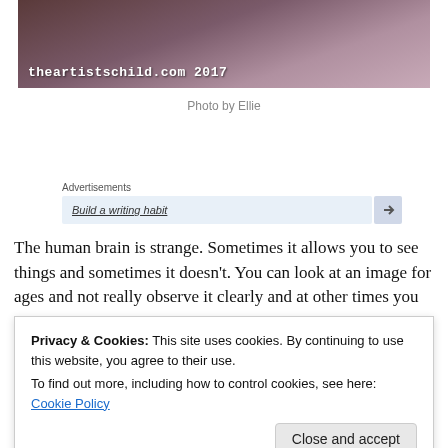[Figure (photo): Dark artistic photo with a watermark reading 'theartistschild.com 2017' in white text at the bottom left]
Photo by Ellie
Advertisements
Build a writing habit
The human brain is strange. Sometimes it allows you to see things and sometimes it doesn't. You can look at an image for ages and not really observe it clearly and at other times you can
Privacy & Cookies: This site uses cookies. By continuing to use this website, you agree to their use.
To find out more, including how to control cookies, see here: Cookie Policy
hand blurs at the edges of some of the pictures. It was not until I